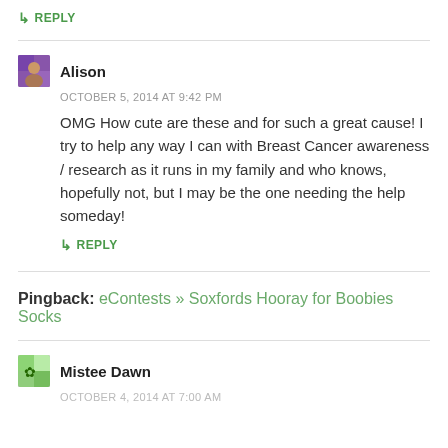↳ REPLY
Alison
OCTOBER 5, 2014 AT 9:42 PM
OMG How cute are these and for such a great cause! I try to help any way I can with Breast Cancer awareness / research as it runs in my family and who knows, hopefully not, but I may be the one needing the help someday!
↳ REPLY
Pingback: eContests » Soxfords Hooray for Boobies Socks
Mistee Dawn
OCTOBER 4, 2014 AT 7:00 AM